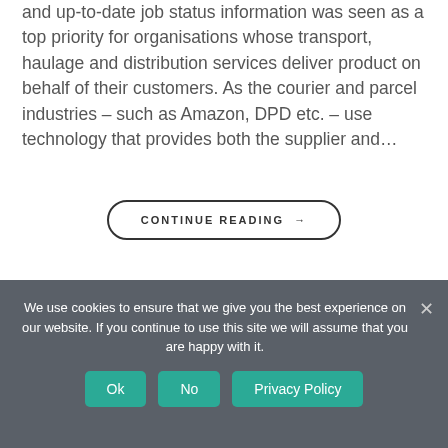and up-to-date job status information was seen as a top priority for organisations whose transport, haulage and distribution services deliver product on behalf of their customers. As the courier and parcel industries – such as Amazon, DPD etc. – use technology that provides both the supplier and...
CONTINUE READING →
We use cookies to ensure that we give you the best experience on our website. If you continue to use this site we will assume that you are happy with it.
Ok
No
Privacy Policy